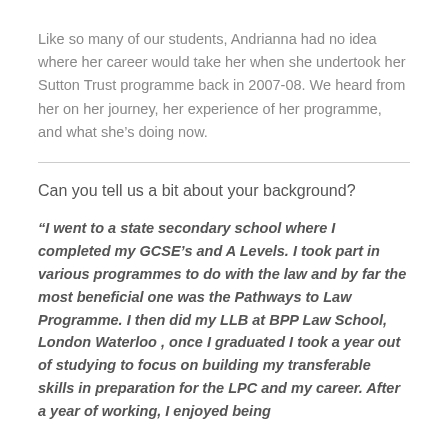Like so many of our students, Andrianna had no idea where her career would take her when she undertook her Sutton Trust programme back in 2007-08. We heard from her on her journey, her experience of her programme, and what she's doing now.
Can you tell us a bit about your background?
“I went to a state secondary school where I completed my GCSE’s and A Levels. I took part in various programmes to do with the law and by far the most beneficial one was the Pathways to Law Programme. I then did my LLB at BPP Law School, London Waterloo , once I graduated I took a year out of studying to focus on building my transferable skills in preparation for the LPC and my career. After a year of working, I enjoyed being